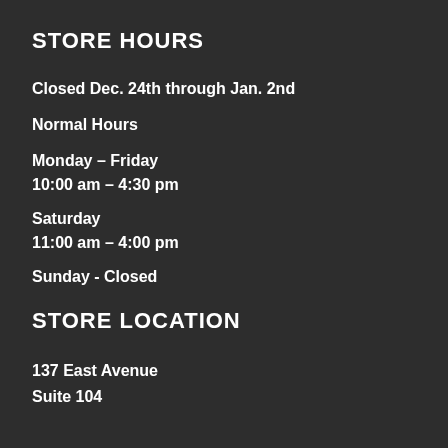STORE HOURS
Closed Dec. 24th through Jan. 2nd
Normal Hours
Monday – Friday
10:00 am – 4:30 pm
Saturday
11:00 am – 4:00 pm
Sunday - Closed
STORE LOCATION
137 East Avenue
Suite 104